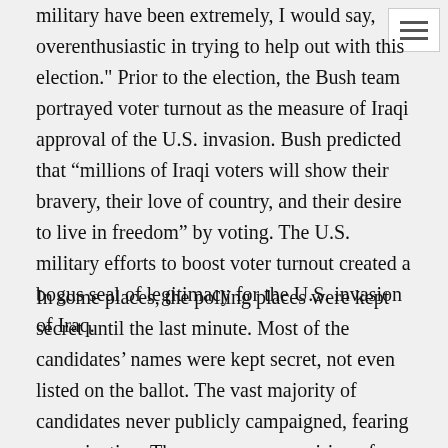military have been extremely, I would say, overenthusiastic in trying to help out with this election." Prior to the election, the Bush team portrayed voter turnout as the measure of Iraqi approval of the U.S. invasion. Bush predicted that “millions of Iraqi voters will show their bravery, their love of country, and their desire to live in freedom” by voting. The U.S. military efforts to boost voter turnout created a bogus seal of legitimacy for the U.S. invasion of Iraq.
In some places, the polling places were kept secret until the last minute. Most of the candidates’ names were kept secret, not even listed on the ballot. The vast majority of candidates never publicly campaigned, fearing assassination. There was no open airing of